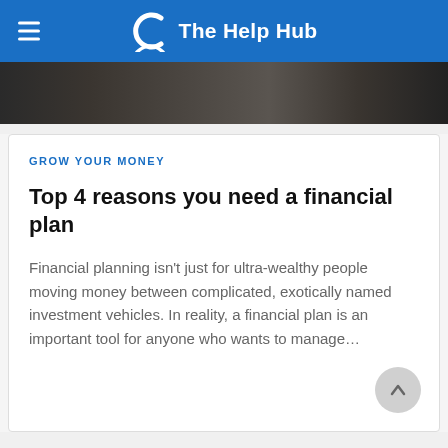The Help Hub
[Figure (photo): Hero image strip showing people in an office/financial setting, dark background]
GROW YOUR MONEY
Top 4 reasons you need a financial plan
Financial planning isn't just for ultra-wealthy people moving money between complicated, exotically named investment vehicles. In reality, a financial plan is an important tool for anyone who wants to manage…